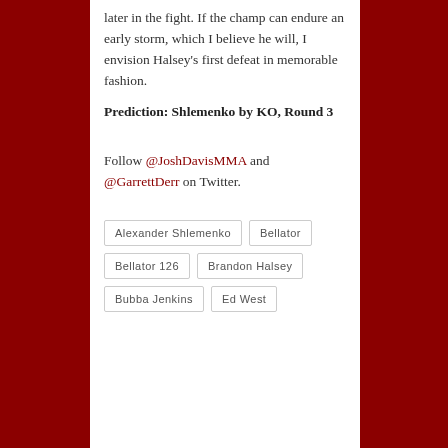later in the fight. If the champ can endure an early storm, which I believe he will, I envision Halsey's first defeat in memorable fashion.
Prediction: Shlemenko by KO, Round 3
Follow @JoshDavisMMA and @GarrettDerr on Twitter.
Alexander Shlemenko
Bellator
Bellator 126
Brandon Halsey
Bubba Jenkins
Ed West